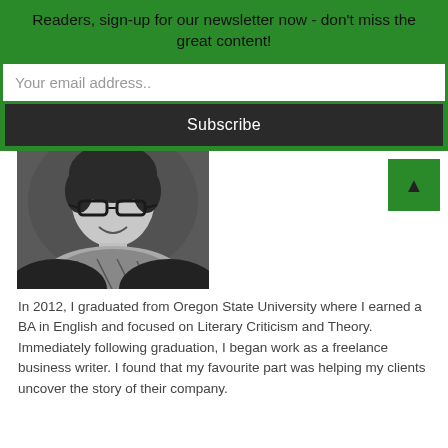Readers, sign-up for our newsletter now - don't miss the great content!
Your email address..
Subscribe
[Figure (photo): Black and white portrait photo of a young woman with glasses and a patterned infinity scarf, smiling at the camera]
In 2012, I graduated from Oregon State University where I earned a BA in English and focused on Literary Criticism and Theory. Immediately following graduation, I began work as a freelance business writer. I found that my favourite part was helping my clients uncover the story of their company.